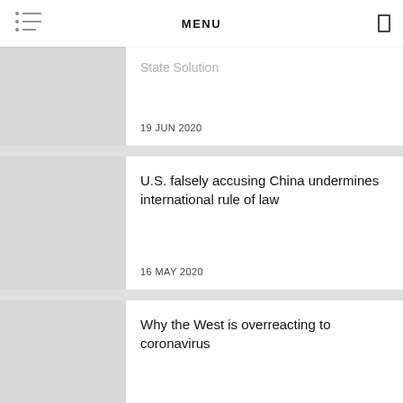MENU
State Solution
19 JUN 2020
U.S. falsely accusing China undermines international rule of law
16 MAY 2020
Why the West is overreacting to coronavirus
14 FEB 2020